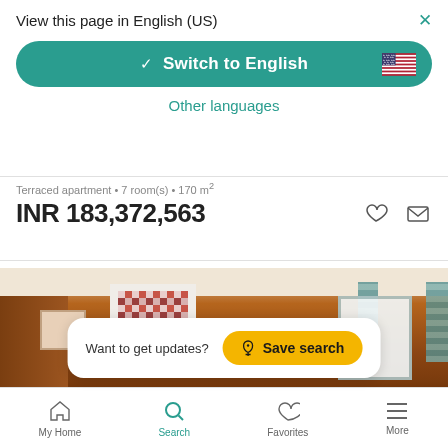View this page in English (US)
Switch to English
Other languages
Terraced apartment • 7 room(s) • 170 m²
INR 183,372,563
[Figure (photo): Interior photo of a wooden-walled bedroom with a quilt wall-hanging, curtained windows, and warm orange-brown wood paneling]
Want to get updates?
Save search
My Home  Search  Favorites  More